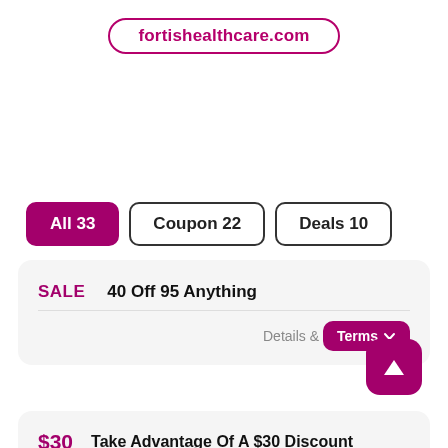fortishealthcare.com
All 33
Coupon 22
Deals 10
SALE   40 Off 95 Anything
Details & Terms
Take Advantage Of A $30 Discount